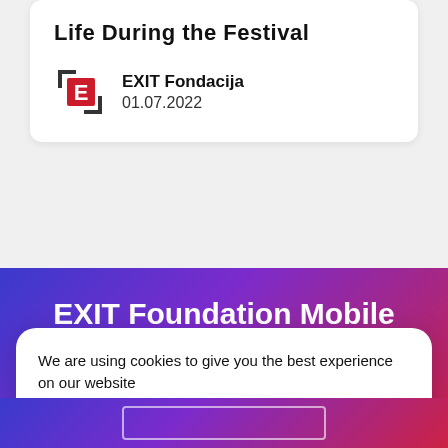Life During the Festival
EXIT Fondacija
01.07.2022
EXIT Foundation Mobile App
We are using cookies to give you the best experience on our website
Accept
Settings